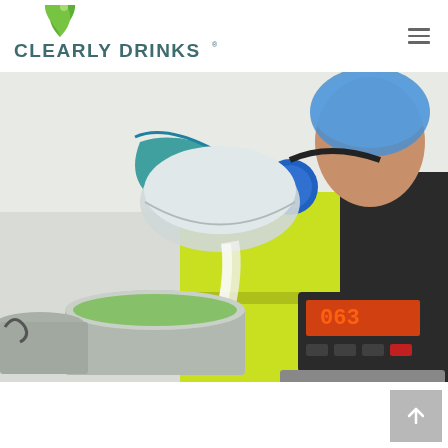[Figure (logo): Clearly Drinks logo with green leaf/droplet icon and teal uppercase text]
[Figure (photo): Worker in high-visibility yellow vest, blue ear defenders, blue hairnet and blue gloves pouring white powder from a stainless steel bowl into a large metal pot on an industrial scale showing 063 on the digital display]
[Figure (other): Grey scroll-to-top button with upward arrow in bottom right corner]